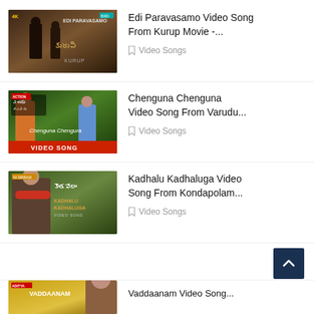[Figure (screenshot): Thumbnail for Edi Paravasamo video song from Kurup movie - shows two figures and Telugu movie poster]
Edi Paravasamo Video Song From Kurup Movie -...
Video Songs
[Figure (screenshot): Thumbnail for Chenguna Chenguna video song from Varudu - shows couple and VIDEO SONG banner]
Chenguna Chenguna Video Song From Varudu...
Video Songs
[Figure (screenshot): Thumbnail for Kadhalu Kadhaluga video song from Kondapolam - shows actor with Telugu text]
Kadhalu Kadhaluga Video Song From Kondapolam...
Video Songs
[Figure (screenshot): Thumbnail for Vaddaanam video song - partially visible at bottom]
Vaddaanam Video Song...